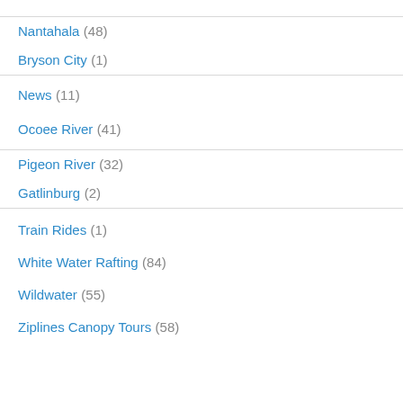Nantahala (48)
Bryson City (1)
News (11)
Ocoee River (41)
Pigeon River (32)
Gatlinburg (2)
Train Rides (1)
White Water Rafting (84)
Wildwater (55)
Ziplines Canopy Tours (58)